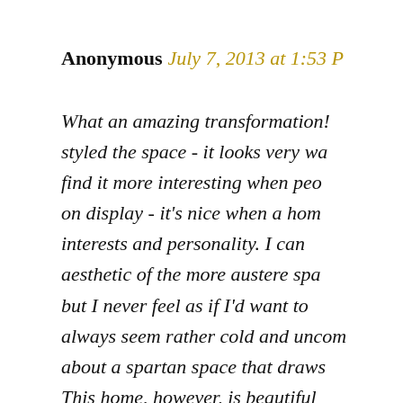Anonymous July 7, 2013 at 1:53 P
What an amazing transformation! styled the space - it looks very wa find it more interesting when peo on display - it's nice when a hom interests and personality. I can aesthetic of the more austere spa but I never feel as if I'd want to always seem rather cold and uncom about a spartan space that draws This home, however, is beautiful space with an open flow for entert